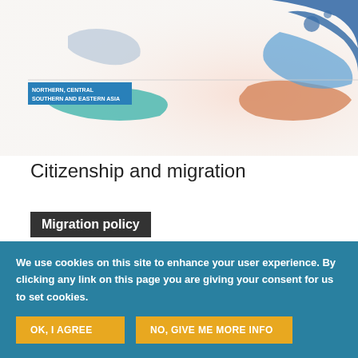[Figure (map): Partial world map showing regions, with a blue label in upper left indicating 'Northern, Central, Southern and Eastern Asia']
Citizenship and migration
Migration policy
[Figure (illustration): Circular arrangement of colorful human-figure arrow icons in red, orange, yellow, green, and magenta, forming a circle]
We use cookies on this site to enhance your user experience. By clicking any link on this page you are giving your consent for us to set cookies.
OK, I AGREE
NO, GIVE ME MORE INFO